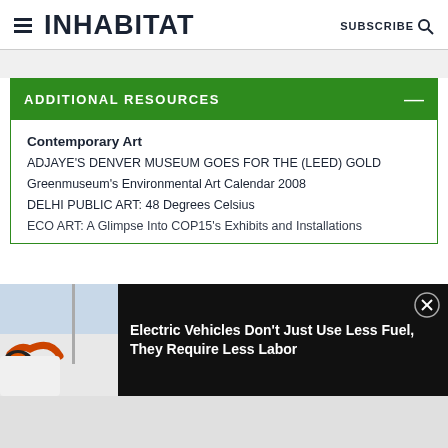INHABITAT | SUBSCRIBE
ADDITIONAL RESOURCES
Contemporary Art
ADJAYE'S DENVER MUSEUM GOES FOR THE (LEED) GOLD
Greenmuseum's Environmental Art Calendar 2008
DELHI PUBLIC ART: 48 Degrees Celsius
ECO ART: A Glimpse Into COP15's Exhibits and Installations
[Figure (screenshot): Screenshot of an electric vehicle being charged, with an orange charging cable inserted into a white car's charging port, with a sailboat mast visible in background.]
Electric Vehicles Don't Just Use Less Fuel, They Require Less Labor